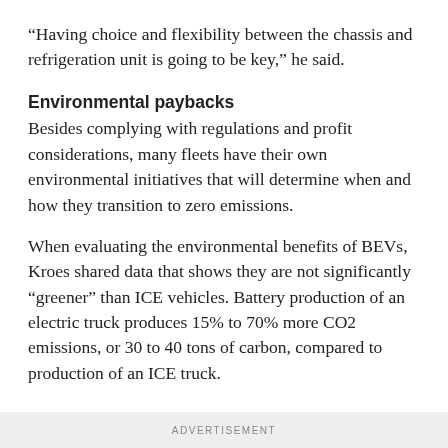“Having choice and flexibility between the chassis and refrigeration unit is going to be key,” he said.
Environmental paybacks
Besides complying with regulations and profit considerations, many fleets have their own environmental initiatives that will determine when and how they transition to zero emissions.
When evaluating the environmental benefits of BEVs, Kroes shared data that shows they are not significantly “greener” than ICE vehicles. Battery production of an electric truck produces 15% to 70% more CO2 emissions, or 30 to 40 tons of carbon, compared to production of an ICE truck.
ADVERTISEMENT